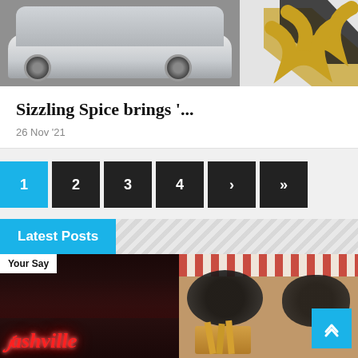[Figure (photo): Top portion of a page showing a silver car on the left side and a graphic/logo element on the right]
Sizzling Spice brings '...
26 Nov '21
[Figure (infographic): Pagination navigation with buttons: 1 (active/blue), 2, 3, 4, >, >>]
Latest Posts
[Figure (photo): Two images side by side: left shows a neon sign reading 'Nashville' with 'Your Say' tag, right shows food (fries and other items) in baskets]